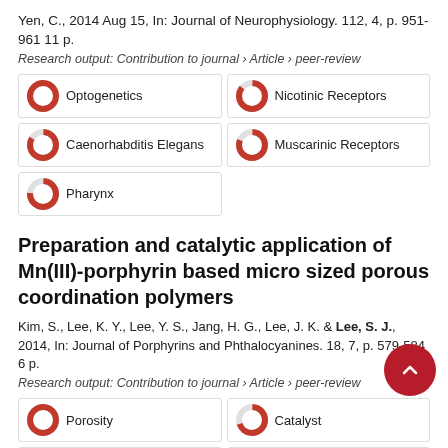Yen, C., 2014 Aug 15, In: Journal of Neurophysiology. 112, 4, p. 951-961 11 p.
Research output: Contribution to journal › Article › peer-review
Optogenetics
Nicotinic Receptors
Caenorhabditis Elegans
Muscarinic Receptors
Pharynx
Preparation and catalytic application of Mn(III)-porphyrin based micro sized porous coordination polymers
Kim, S., Lee, K. Y., Lee, Y. S., Jang, H. G., Lee, J. K. & Lee, S. J., 2014, In: Journal of Porphyrins and Phthalocyanines. 18, 7, p. 579-584 6 p.
Research output: Contribution to journal › Article › peer-review
Porosity
Catalyst
Heterogeneous Catalyst
Application